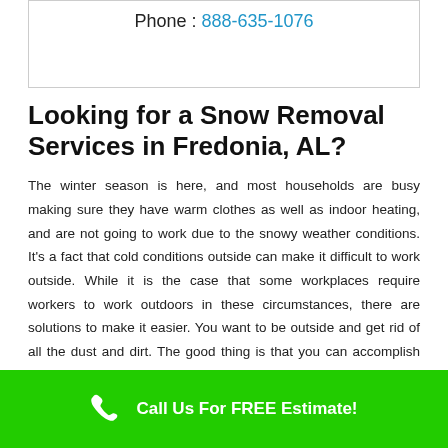Phone : 888-635-1076
Looking for a Snow Removal Services in Fredonia, AL?
The winter season is here, and most households are busy making sure they have warm clothes as well as indoor heating, and are not going to work due to the snowy weather conditions. It's a fact that cold conditions outside can make it difficult to work outside. While it is the case that some workplaces require workers to work outdoors in these circumstances, there are solutions to make it easier. You want to be outside and get rid of all the dust and dirt. The good thing is that you can accomplish both but you must plan ahead and follow certain procedures to
Call Us For FREE Estimate!